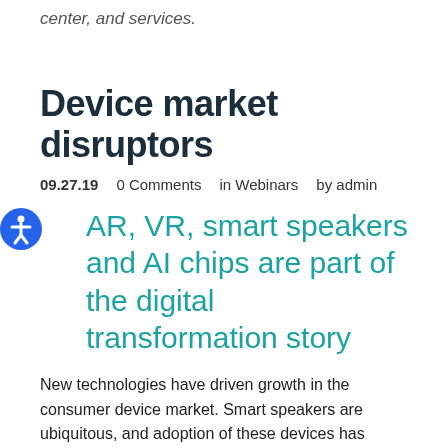center, and services.
Device market disruptors
09.27.19   0 Comments   in Webinars   by admin
AR, VR, smart speakers and AI chips are part of the digital transformation story
New technologies have driven growth in the consumer device market. Smart speakers are ubiquitous, and adoption of these devices has grown faster than for any new product since smartphones. AR and VR adoption is growing more slowly but the technology is important in entertainment and